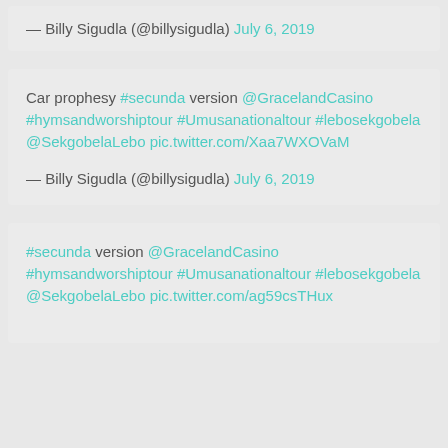— Billy Sigudla (@billysigudla) July 6, 2019
Car prophesy #secunda version @GracelandCasino #hymsandworshiptour #Umusanationaltour #lebosekgobela @SekgobelaLebo pic.twitter.com/Xaa7WXOVaM
— Billy Sigudla (@billysigudla) July 6, 2019
#secunda version @GracelandCasino #hymsandworshiptour #Umusanationaltour #lebosekgobela @SekgobelaLebo pic.twitter.com/ag59csTHux